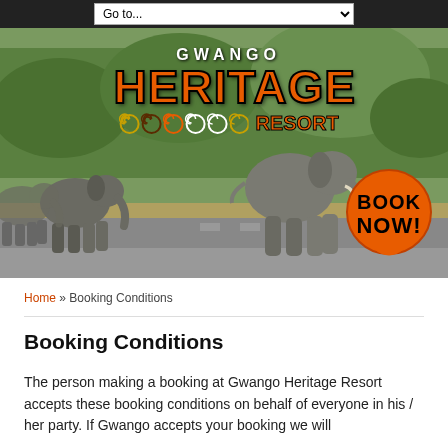[Figure (screenshot): Navigation bar with Go to... dropdown menu on dark background]
[Figure (photo): Gwango Heritage Resort hero banner with elephants crossing a road in a savanna/bush setting, featuring the resort logo with GWANGO in white, HERITAGE in large orange block letters, spiral decorations, RESORT text, and a Book Now orange badge]
Home » Booking Conditions
Booking Conditions
The person making a booking at Gwango Heritage Resort accepts these booking conditions on behalf of everyone in his / her party.  If Gwango accepts your booking we will